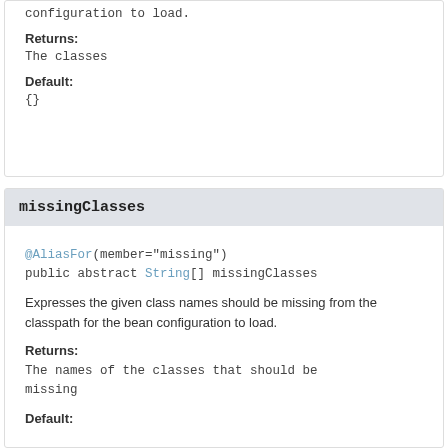configuration to load.
Returns:
The classes
Default:
{}
missingClasses
@AliasFor(member="missing")
public abstract String[] missingClasses
Expresses the given class names should be missing from the classpath for the bean configuration to load.
Returns:
The names of the classes that should be missing
Default: